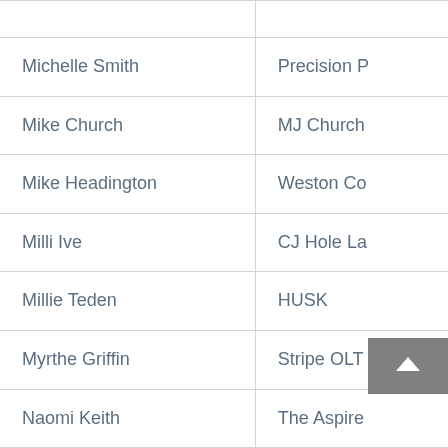| Name | Organisation |
| --- | --- |
| Michelle Smith | Precision P... |
| Mike Church | MJ Church... |
| Mike Headington | Weston Co... |
| Milli Ive | CJ Hole La... |
| Millie Teden | HUSK |
| Myrthe Griffin | Stripe OLT... |
| Naomi Keith | The Aspire... |
| Naomi Kilcoyne | The Bristo... |
| Natalie Johnson | Plaster |